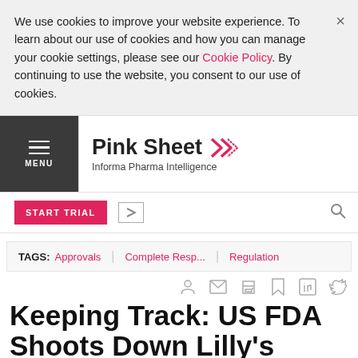We use cookies to improve your website experience. To learn about our use of cookies and how you can manage your cookie settings, please see our Cookie Policy. By continuing to use the website, you consent to our use of cookies.
Pink Sheet — Informa Pharma Intelligence
START TRIAL
TAGS: Approvals | Complete Resp... | Regulation
Keeping Track: US FDA Shoots Down Lilly's